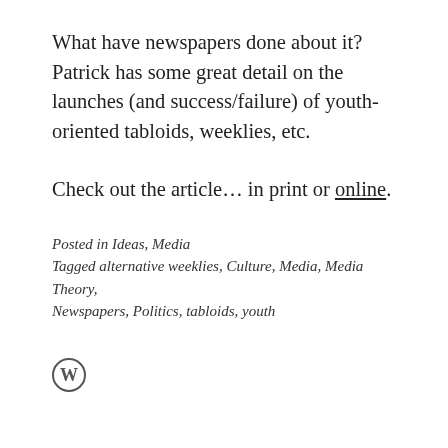What have newspapers done about it? Patrick has some great detail on the launches (and success/failure) of youth-oriented tabloids, weeklies, etc.
Check out the article… in print or online.
Posted in Ideas, Media
Tagged alternative weeklies, Culture, Media, Media Theory, Newspapers, Politics, tabloids, youth
[Figure (logo): WordPress circular logo icon]